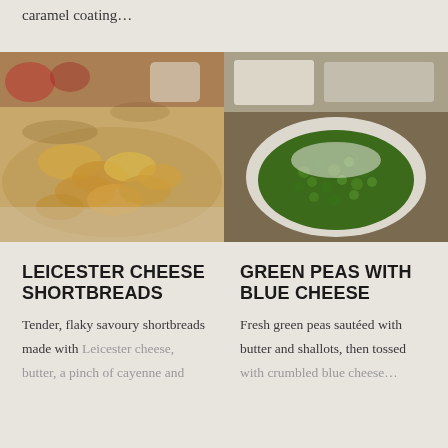caramel coating…
[Figure (photo): Overhead photo of golden cheese shortbread biscuits piled on a marble/wooden board, with fruit and dips in background]
[Figure (photo): Bowl of fresh green peas topped with crumbled blue cheese, with butter and oats visible in background on wooden surface]
LEICESTER CHEESE SHORTBREADS
GREEN PEAS WITH BLUE CHEESE
Tender, flaky savoury shortbreads made with Leicester cheese, butter, a pinch of cayenne and
Fresh green peas sautéed with butter and shallots, then tossed with crumbled blue cheese…